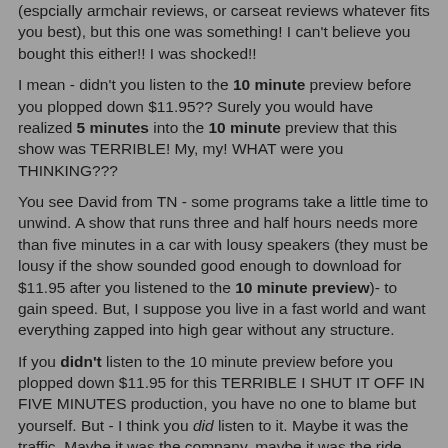(espcially armchair reviews, or carseat reviews whatever fits you best), but this one was something! I can't believe you bought this either!! I was shocked!!
I mean - didn't you listen to the 10 minute preview before you plopped down $11.95?? Surely you would have realized 5 minutes into the 10 minute preview that this show was TERRIBLE! My, my! WHAT were you THINKING???
You see David from TN - some programs take a little time to unwind. A show that runs three and half hours needs more than five minutes in a car with lousy speakers (they must be lousy if the show sounded good enough to download for $11.95 after you listened to the 10 minute preview)- to gain speed. But, I suppose you live in a fast world and want everything zapped into high gear without any structure.
If you didn't listen to the 10 minute preview before you plopped down $11.95 for this TERRIBLE I SHUT IT OFF IN FIVE MINUTES production, you have no one to blame but yourself. But - I think you did listen to it. Maybe it was the traffic. Maybe it was the company. maybe it was the ride.